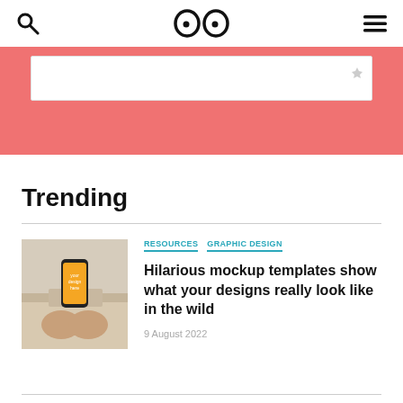🔍 OO ≡
[Figure (screenshot): Pink banner with white search bar overlay at top of page]
Trending
[Figure (photo): Person holding a smartphone with a yellow/orange mockup design on screen]
RESOURCES  GRAPHIC DESIGN
Hilarious mockup templates show what your designs really look like in the wild
9 August 2022